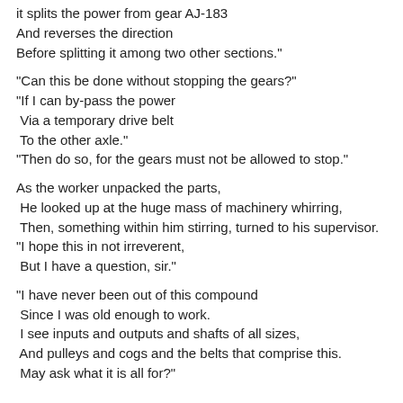it splits the power from gear AJ-183
And reverses the direction
Before splitting it among two other sections."
"Can this be done without stopping the gears?"
"If I can by-pass the power
Via a temporary drive belt
To the other axle."
"Then do so, for the gears must not be allowed to stop."
As the worker unpacked the parts,
He looked up at the huge mass of machinery whirring,
Then, something within him stirring, turned to his supervisor.
"I hope this in not irreverent,
But I have a question, sir."
"I have never been out of this compound
Since I was old enough to work.
I see inputs and outputs and shafts of all sizes,
And pulleys and cogs and the belts that comprise this.
May ask what it is all for?"